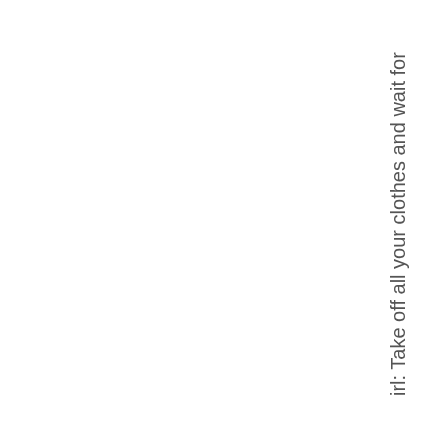irl: Take off all your clothes and wait for